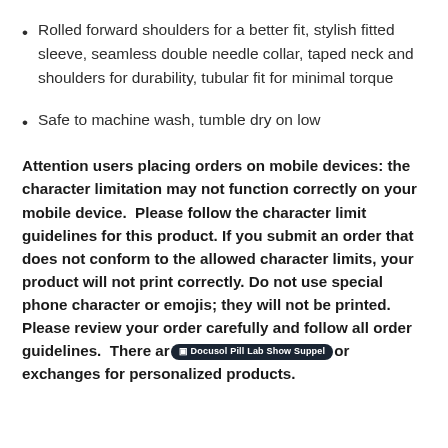Rolled forward shoulders for a better fit, stylish fitted sleeve, seamless double needle collar, taped neck and shoulders for durability, tubular fit for minimal torque
Safe to machine wash, tumble dry on low
Attention users placing orders on mobile devices: the character limitation may not function correctly on your mobile device.  Please follow the character limit guidelines for this product. If you submit an order that does not conform to the allowed character limits, your product will not print correctly. Do not use special phone character or emojis; they will not be printed. Please review your order carefully and follow all order guidelines.  There are no returns or exchanges for personalized products.